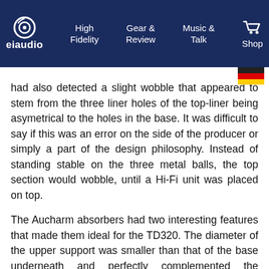eiaudio | High Fidelity | Gear & Review | Music & Talk | Shop
had also detected a slight wobble that appeared to stem from the three liner holes of the top-liner being asymetrical to the holes in the base. It was difficult to say if this was an error on the side of the producer or simply a part of the design philosophy. Instead of standing stable on the three metal balls, the top section would wobble, until a Hi-Fi unit was placed on top.
The Aucharm absorbers had two interesting features that made them ideal for the TD320. The diameter of the upper support was smaller than that of the base underneath and perfectly complemented the Thorens' round chassis indentations. And they were height-adjustable to level an uneven surface. These features did make them intersting to keep, despite the slight wobble, but they also made me curious as to what else the market had to offer. The Audiocrat absorbers